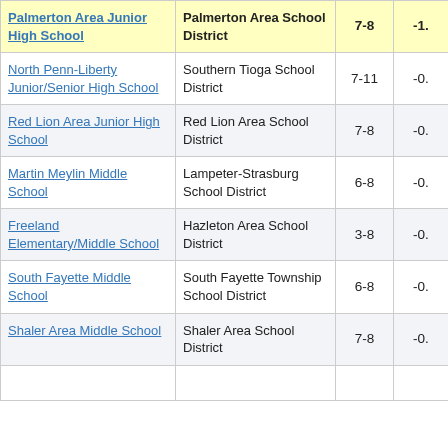| School | District | Grades | Value |
| --- | --- | --- | --- |
| Palmerton Area Junior High School | Palmerton Area School District | 7-8 | -1. |
| North Penn-Liberty Junior/Senior High School | Southern Tioga School District | 7-11 | -0. |
| Red Lion Area Junior High School | Red Lion Area School District | 7-8 | -0. |
| Martin Meylin Middle School | Lampeter-Strasburg School District | 6-8 | -0. |
| Freeland Elementary/Middle School | Hazleton Area School District | 3-8 | -0. |
| South Fayette Middle School | South Fayette Township School District | 6-8 | -0. |
| Shaler Area Middle School | Shaler Area School District | 7-8 | -0. |